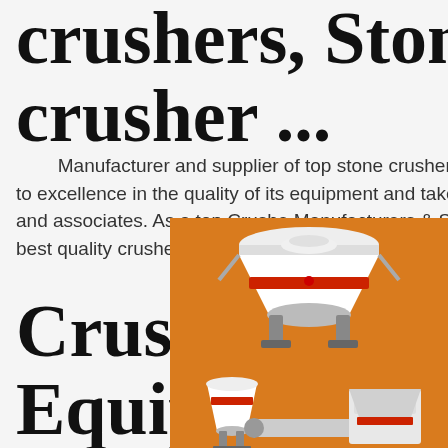crushers, Stone crusher ...
Manufacturer and supplier of top stone crushers in India. Mewar Hitech is committed to excellence in the quality of its equipment and takes pride in on dedication to customers and associates. As a top Crusher Manufacturers & Suppliers in India, we are committed to offer the best quality crushers, screens & custom size reduction ...
Crushing Equipments - Screening Equipment Manufacturer And ...
[Figure (illustration): Orange advertisement panel showing industrial stone crushing machinery (cone crusher and mobile crushing unit) with text 'Enjoy 3% discount' and 'Click to Chat' in yellow bar, and 'Enquiry' section below with email limingjlmofen@sina.com]